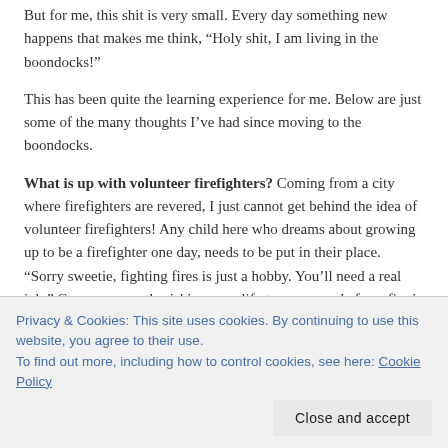But for me, this shit is very small. Every day something new happens that makes me think, “Holy shit, I am living in the boondocks!”
This has been quite the learning experience for me. Below are just some of the many thoughts I’ve had since moving to the boondocks.
What is up with volunteer firefighters? Coming from a city where firefighters are revered, I just cannot get behind the idea of volunteer firefighters! Any child here who dreams about growing up to be a firefighter one day, needs to be put in their place. “Sorry sweetie, fighting fires is just a hobby. You’ll need a real job.” Cause apparently risking your life to save people from fire is not worthy of a paycheck. Since this is a small town, and the surrounding areas are even smaller, I can understand not needing a HUGE staff. Maybe have
Privacy & Cookies: This site uses cookies. By continuing to use this website, you agree to their use.
To find out more, including how to control cookies, see here: Cookie Policy
Close and accept